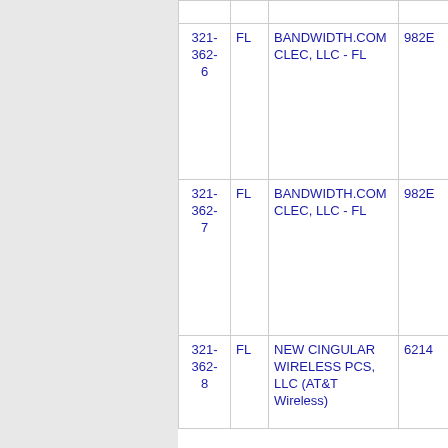| Number | State | Carrier Name | Code |
| --- | --- | --- | --- |
| 321-362-6 | FL | BANDWIDTH.COM CLEC, LLC - FL | 982E |
| 321-362-7 | FL | BANDWIDTH.COM CLEC, LLC - FL | 982E |
| 321-362-8 | FL | NEW CINGULAR WIRELESS PCS, LLC (AT&T Wireless) | 6214 |